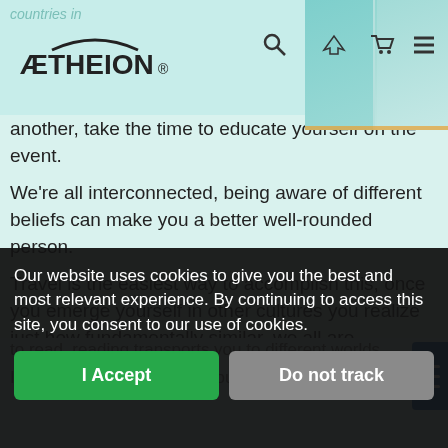ÆTHEION® — navigation bar with logo, search, cart, and menu icons
countries in another, take the time to educate yourself on the event.
We're all interconnected, being aware of different beliefs can make you a better well-rounded person.
Travel is the easiest way to accomplish this, once you emerge yourself in other cultures you realize just how fundamentally similar, we all are. Understanding different points of view really expand your mind, as long as you are willing to
to read, reading transports you to different worlds.
If you aren't able to de... about some of those...
Our website uses cookies to give you the best and most relevant experience. By continuing to access this site, you consent to our use of cookies.
I Accept
Do not track